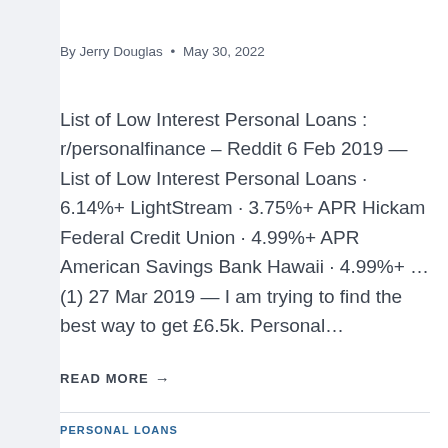By Jerry Douglas • May 30, 2022
List of Low Interest Personal Loans : r/personalfinance – Reddit 6 Feb 2019 — List of Low Interest Personal Loans · 6.14%+ LightStream · 3.75%+ APR Hickam Federal Credit Union · 4.99%+ APR American Savings Bank Hawaii · 4.99%+ …(1) 27 Mar 2019 — I am trying to find the best way to get £6.5k. Personal…
READ MORE →
PERSONAL LOANS